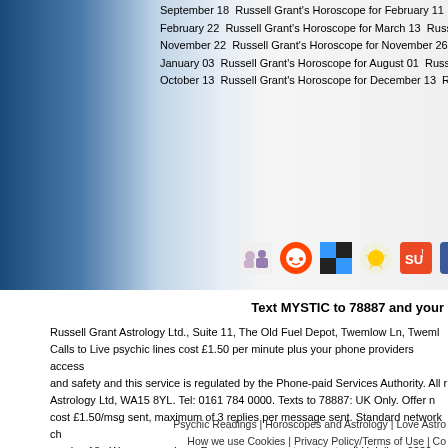September 18  Russell Grant's Horoscope for February 11
February 22  Russell Grant's Horoscope for March 13  Russ
November 22  Russell Grant's Horoscope for November 26
January 03  Russell Grant's Horoscope for August 01  Russ
October 13  Russell Grant's Horoscope for December 13  R
[Figure (infographic): Social sharing icons: MySpace, Reddit, Delicious, Google, StumbleUpon, Facebook]
Text MYSTIC to 78887 and your
Russell Grant Astrology Ltd., Suite 11, The Old Fuel Depot, Twemlow Ln, Tweml... Calls to Live psychic lines cost £1.50 per minute plus your phone providers access... and safety and this service is regulated by the Phone-paid Services Authority. All r... Astrology Ltd, WA15 8YL. Tel: 0161 784 0000. Texts to 78887: UK Only. Offer n... cost £1.50/msg sent, maximum of 3 replies per message sent. Standard network ch... service.18+ We may send you Free promo msgs, to opt out call Helpline: 0330 114-... services you permit us to store your details in harmony with UK law and to contac...
Psychic Readings | Horoscopes and Astrology | Love Astro... How we use Cookies | Privacy Policy/Terms of Use | Co...